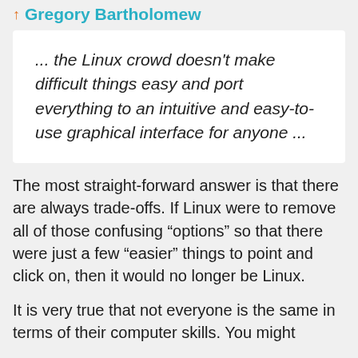Gregory Bartholomew
... the Linux crowd doesn't make difficult things easy and port everything to an intuitive and easy-to-use graphical interface for anyone ...
The most straight-forward answer is that there are always trade-offs. If Linux were to remove all of those confusing “options” so that there were just a few “easier” things to point and click on, then it would no longer be Linux.
It is very true that not everyone is the same in terms of their computer skills. You might